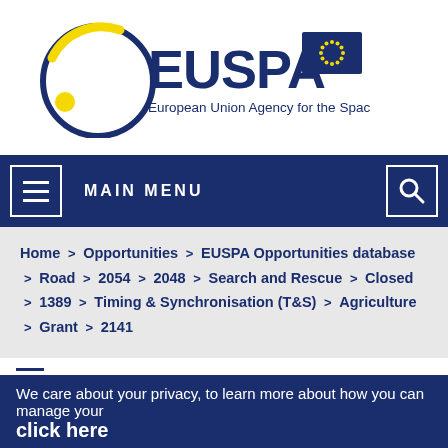[Figure (logo): EUSPA logo — European Union Agency for the Space Programme, with EU flag]
MAIN MENU
Home > Opportunities > EUSPA Opportunities database > Road > 2054 > 2048 > Search and Rescue > Closed > 1389 > Timing & Synchronisation (T&S) > Agriculture > Grant > 2141
We care about your privacy, to learn more about how you can manage your ... click here